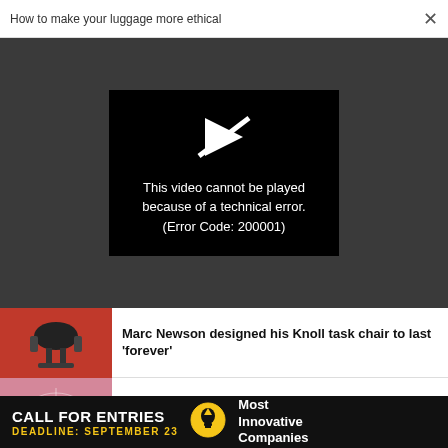How to make your luggage more ethical ×
[Figure (screenshot): Video player error screen on dark background showing a crossed-out play button icon and text: 'This video cannot be played because of a technical error. (Error Code: 200001)']
[Figure (photo): Thumbnail of a black ergonomic task chair on a red background]
Marc Newson designed his Knoll task chair to last 'forever'
[Figure (photo): Thumbnail of a green frog near a spider web on a pink/red background]
NEWS
What is spiderweb capitalism?
[Figure (infographic): Advertisement banner: CALL FOR ENTRIES — DEADLINE: SEPTEMBER 23 — Most Innovative Companies (with lightbulb icon)]